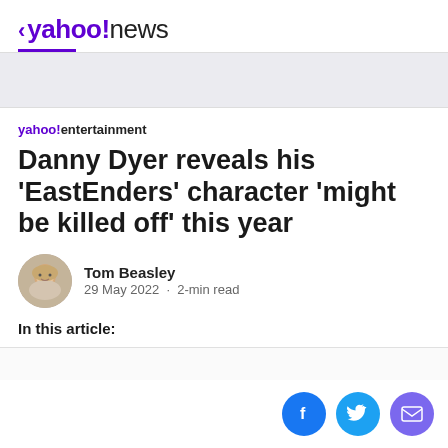< yahoo!news
yahoo!entertainment
Danny Dyer reveals his 'EastEnders' character 'might be killed off' this year
Tom Beasley
29 May 2022 · 2-min read
In this article: